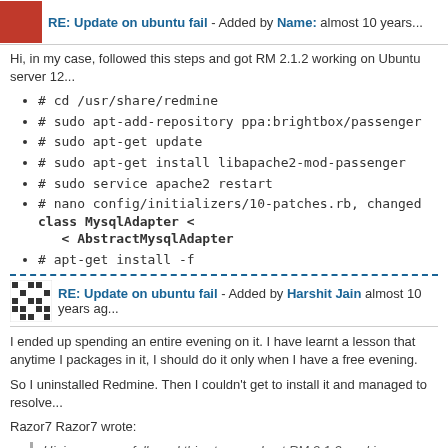RE: Update on ubuntu fail - Added by Name: almost 10 years...
Hi, in my case, followed this steps and got RM 2.1.2 working on Ubuntu server 12...
# cd /usr/share/redmine
# sudo apt-add-repository ppa:brightbox/passenger
# sudo apt-get update
# sudo apt-get install libapache2-mod-passenger
# sudo service apache2 restart
# nano config/initializers/10-patches.rb, changed class MysqlAdapter < AbstractMysqlAdapter
# apt-get install -f
RE: Update on ubuntu fail - Added by Harshit Jain almost 10 years ag...
I ended up spending an entire evening on it. I have learnt a lesson that anytime I packages in it, I should do it only when I have a free evening.
So I uninstalled Redmine. Then I couldn't get to install it and managed to resolve...
Razor7 Razor7 wrote:
Hi, in my case, followed this steps and got RM 2.1.2 working on Ubuntu s...
# cd /usr/share/redmine
# sudo apt-add-repository ppa:brightbox/passenger
# sudo apt-get update
# sudo apt-get install libapache2-mod-passenger
# sudo service apache2 restart
# nano config/initializers/10-patches.rb, changed class MysqlAdapter < AbstractMysqlAdapter
# apt-get install -f